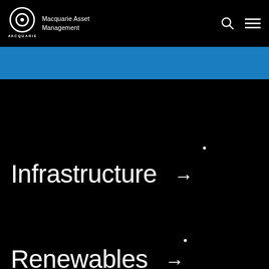Macquarie Asset Management
[Figure (other): Macquarie logo - circular ring icon above text MACQUARIE]
[Figure (other): Blue banner/header bar]
Infrastructure →
Renewables